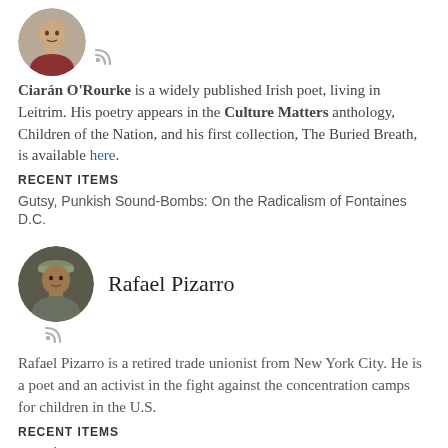[Figure (photo): Circular avatar photo of Ciarán O'Rourke, a man, cropped to circle]
Ciarán O'Rourke is a widely published Irish poet, living in Leitrim. His poetry appears in the Culture Matters anthology, Children of the Nation, and his first collection, The Buried Breath, is available here.
RECENT ITEMS
Gutsy, Punkish Sound-Bombs: On the Radicalism of Fontaines D.C.
[Figure (photo): Circular avatar photo of Rafael Pizarro, a man wearing a cap]
Rafael Pizarro
Rafael Pizarro is a retired trade unionist from New York City. He is a poet and an activist in the fight against the concentration camps for children in the U.S.
RECENT ITEMS
A Mother Stamps Her Feet